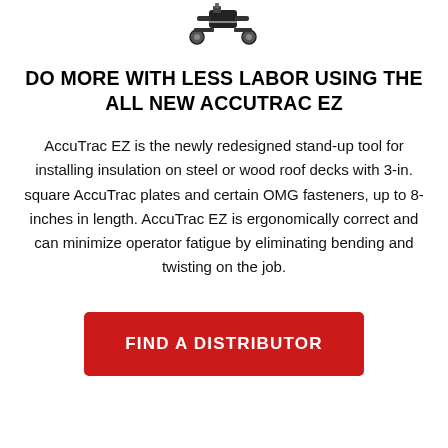[Figure (photo): Product image of the AccuTrac EZ stand-up tool, shown at the top of the page in black and grey.]
DO MORE WITH LESS LABOR USING THE ALL NEW ACCUTRAC EZ
AccuTrac EZ is the newly redesigned stand-up tool for installing insulation on steel or wood roof decks with 3-in. square AccuTrac plates and certain OMG fasteners, up to 8-inches in length. AccuTrac EZ is ergonomically correct and can minimize operator fatigue by eliminating bending and twisting on the job.
FIND A DISTRIBUTOR